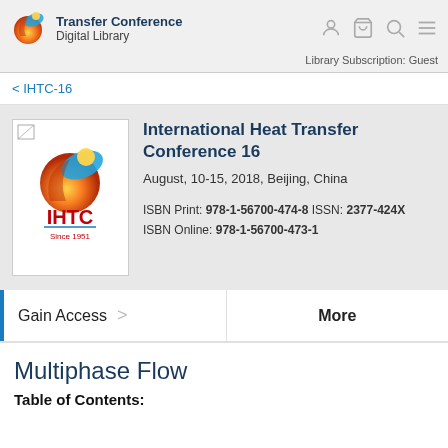Transfer Conference Digital Library | Library Subscription: Guest
< IHTC-16
International Heat Transfer Conference 16
August, 10-15, 2018, Beijing, China
ISBN Print: 978-1-56700-474-8 ISSN: 2377-424X
ISBN Online: 978-1-56700-473-1
Gain Access >
More
Multiphase Flow
Table of Contents: